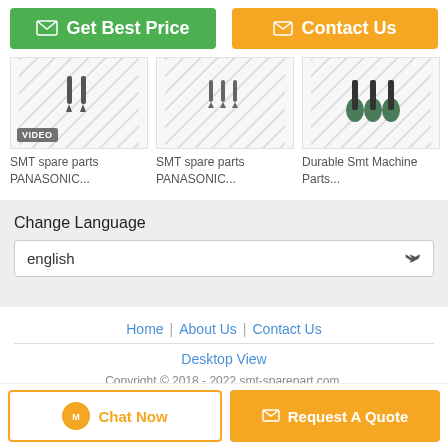[Figure (screenshot): Get Best Price button (green) and Contact Us button (orange)]
[Figure (screenshot): Product card 1: SMT spare parts PANASONIC... with VIDEO badge]
[Figure (screenshot): Product card 2: SMT spare parts PANASONIC...]
[Figure (screenshot): Product card 3: Durable Smt Machine Parts...]
SMT spare parts PANASONIC...
SMT spare parts PANASONIC...
Durable Smt Machine Parts...
Change Language
english
Home | About Us | Contact Us
Desktop View
Copyright © 2018 - 2022 smt-sparepart.com. All rights reserved.
[Figure (screenshot): Chat Now button and Request A Quote button at bottom]